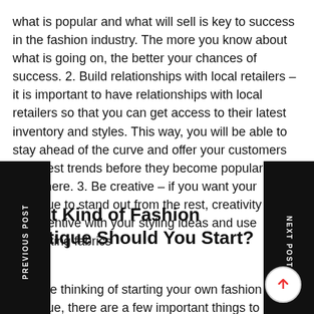what is popular and what will sell is key to success in the fashion industry. The more you know about what is going on, the better your chances of success. 2. Build relationships with local retailers – it is important to have relationships with local retailers so that you can get access to their latest inventory and styles. This way, you will be able to stay ahead of the curve and offer your customers the latest trends before they become popular elsewhere. 3. Be creative – if you want your boutique to stand out from the rest, creativity is key. Be inventive with your styling ideas and use interesting fabrics
What Kind of Fashion Boutique Should You Start?
If you're thinking of starting your own fashion boutique, there are a few important things to consider